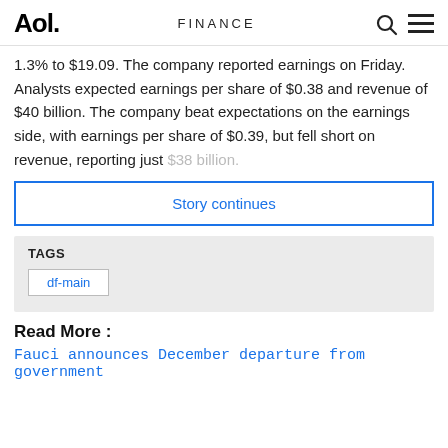Aol. | FINANCE
1.3% to $19.09. The company reported earnings on Friday. Analysts expected earnings per share of $0.38 and revenue of $40 billion. The company beat expectations on the earnings side, with earnings per share of $0.39, but fell short on revenue, reporting just $38 billion.
Story continues
TAGS
df-main
Read More :
Fauci announces December departure from government